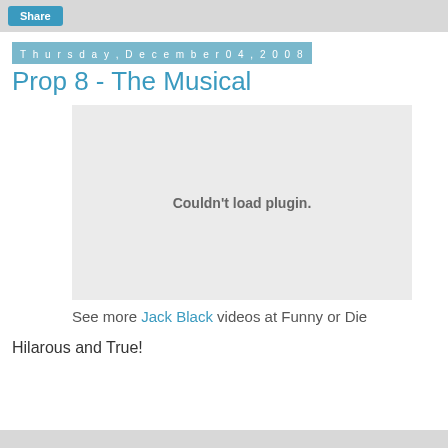Share
Thursday, December 04, 2008
Prop 8 - The Musical
[Figure (other): Video embed placeholder showing 'Couldn't load plugin.' message in a grey rectangle]
See more Jack Black videos at Funny or Die
Hilarous and True!